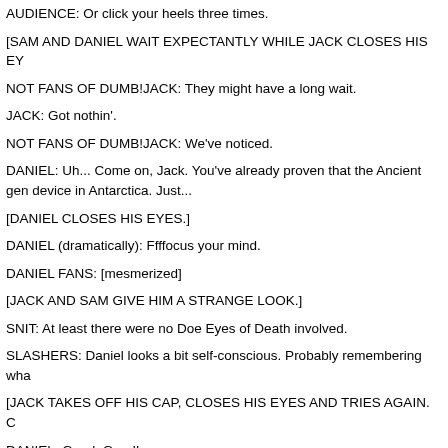AUDIENCE: Or click your heels three times.
[SAM AND DANIEL WAIT EXPECTANTLY WHILE JACK CLOSES HIS EY
NOT FANS OF DUMB!JACK: They might have a long wait.
JACK: Got nothin'.
NOT FANS OF DUMB!JACK: We've noticed.
DANIEL: Uh... Come on, Jack. You've already proven that the Ancient gen device in Antarctica. Just...
[DANIEL CLOSES HIS EYES.]
DANIEL (dramatically): Ffffocus your mind.
DANIEL FANS: [mesmerized]
[JACK AND SAM GIVE HIM A STRANGE LOOK.]
SNIT: At least there were no Doe Eyes of Death involved.
SLASHERS: Daniel looks a bit self-conscious. Probably remembering wha
[JACK TAKES OFF HIS CAP, CLOSES HIS EYES AND TRIES AGAIN. C
DANIEL: Good. Good!
[EVERYTHING STOPS.]
DANIEL: Not so good.
AUDIENCE: Ya think?